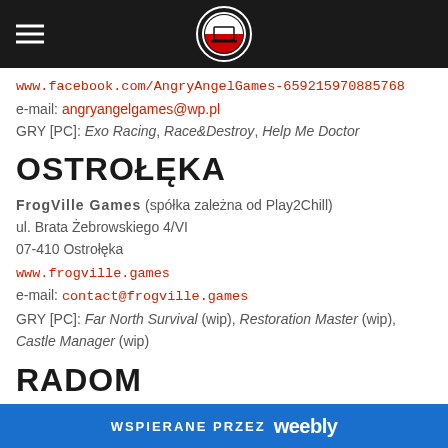Navigation bar with hamburger menu and logo
www.facebook.com/AngryAngelGames-659215970885768
e-mail: angryangelgames@wp.pl
GRY [PC]: Exo Racing, Race&Destroy, Help Me Doctor
OSTROŁĘKA
FrogVille Games (spółka zależna od Play2Chill)
ul. Brata Żebrowskiego 4/VI
07-410 Ostrołęka
www.frogville.games
e-mail: contact@frogville.games
GRY [PC]: Far North Survival (wip), Restoration Master (wip), Castle Manager (wip)
RADOM
Hypnotic Ants Studio
ul. Zbrowskiego 14/17
WSPIERANE PRZEZ weebly